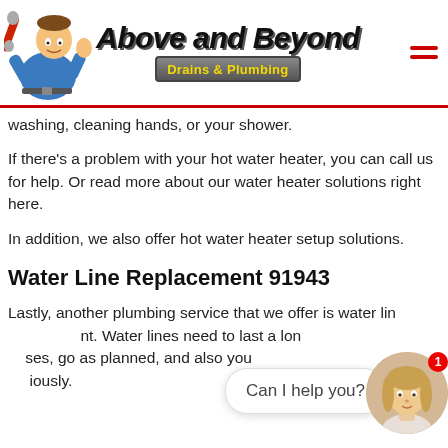[Figure (logo): Above and Beyond Drains & Plumbing logo with cartoon plumber mascot holding a wrench]
washing, cleaning hands, or your shower.
If there's a problem with your hot water heater, you can call us for help. Or read more about our water heater solutions right here.
In addition, we also offer hot water heater setup solutions.
Water Line Replacement 91943
Lastly, another plumbing service that we offer is water line replacement. Water lines need to last a long time, sometimes problems arise, and also you should deal with it seriously.
[Figure (photo): Chat widget with a woman's photo avatar and 'Can I help you?' speech bubble, notification badge showing 1]